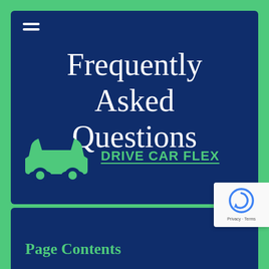Frequently Asked Questions
[Figure (logo): Green car icon silhouette representing Drive Car Flex brand]
DRIVE CAR FLEX
Page Contents